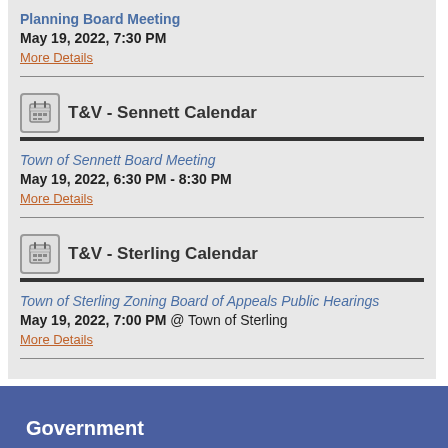Planning Board Meeting
May 19, 2022, 7:30 PM
More Details
T&V - Sennett Calendar
Town of Sennett Board Meeting
May 19, 2022, 6:30 PM - 8:30 PM
More Details
T&V - Sterling Calendar
Town of Sterling Zoning Board of Appeals Public Hearings
May 19, 2022, 7:00 PM @ Town of Sterling
More Details
Government